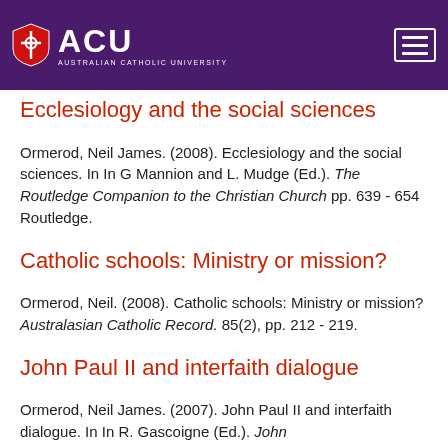[Figure (logo): ACU Australian Catholic University logo with shield on purple header background and hamburger menu icon]
Ecclesiology and the social sciences
Ormerod, Neil James. (2008). Ecclesiology and the social sciences. In In G Mannion and L. Mudge (Ed.). The Routledge Companion to the Christian Church pp. 639 - 654 Routledge.
Catholic schools: Ministry or mission?
Ormerod, Neil. (2008). Catholic schools: Ministry or mission? Australasian Catholic Record. 85(2), pp. 212 - 219.
John Paul II and interfaith dialogue
Ormerod, Neil James. (2007). John Paul II and interfaith dialogue. In In R. Gascoigne (Ed.). John